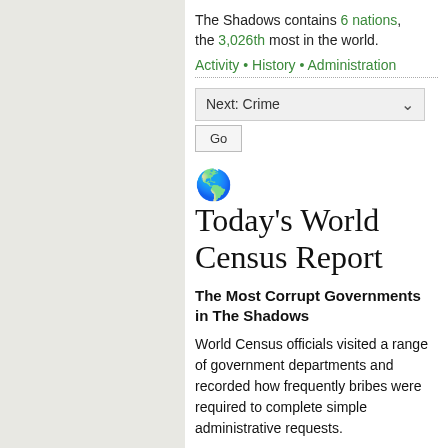The Shadows contains 6 nations, the 3,026th most in the world.
Activity • History • Administration
Next: Crime
Go
Today's World Census Report
The Most Corrupt Governments in The Shadows
World Census officials visited a range of government departments and recorded how frequently bribes were required to complete simple administrative requests.
As a region, The Shadows is ranked 4,006th in the world for